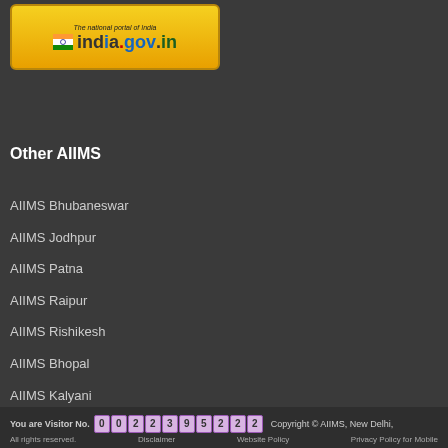[Figure (logo): india.gov.in - The national portal of India logo with Indian flag, yellow/gold background]
Other AIIMS
AIIMS Bhubaneswar
AIIMS Jodhpur
AIIMS Patna
AIIMS Raipur
AIIMS Rishikesh
AIIMS Bhopal
AIIMS Kalyani
You are Visitor No. 002239522 Copyright © AIIMS, New Delhi, All rights reserved. Disclaimer Website Policy Privacy Policy for Mobile